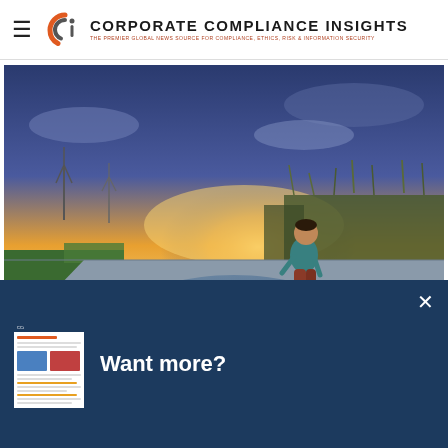Corporate Compliance Insights — THE PREMIER GLOBAL NEWS SOURCE FOR COMPLIANCE, ETHICS, RISK & INFORMATION SECURITY
[Figure (photo): Child in yellow rain boots splashing in a puddle on a road at sunset, with wind turbines and tall grass in background. Text overlay: COMPLIANCE RISK STUDY 2022 REPORT / Find calm in every compliance storm]
Welcome to CCI. This site uses cookies. Please click OK to
[Figure (screenshot): Dark blue popup banner reading 'Want more?' with a thumbnail of a CCI newsletter on the left and an X close button on the top right]